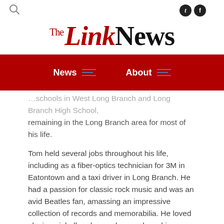The Link News — navigation header with search, social icons, logo, and nav bar
…schools in West Long Branch and Long Branch High School, remaining in the Long Branch area for most of his life.
Tom held several jobs throughout his life, including as a fiber-optics technician for 3M in Eatontown and a taxi driver in Long Branch. He had a passion for classic rock music and was an avid Beatles fan, amassing an impressive collection of records and memorabilia. He loved playing pinball and owned several machines throughout his life. SilverBall Arcade in Asbury Park was one of his favorite places to frequent. Tom was fortunate to have had many great friends throughout his life who supported him through his ups and downs.